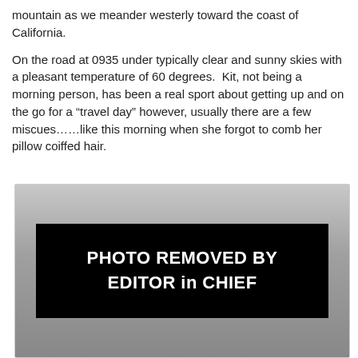mountain as we meander westerly toward the coast of California.

On the road at 0935 under typically clear and sunny skies with a pleasant temperature of 60 degrees.  Kit, not being a morning person, has been a real sport about getting up and on the go for a “travel day” however, usually there are a few miscues……like this morning when she forgot to comb her pillow coiffed hair.
[Figure (photo): Photo placeholder with black rectangle containing white text: PHOTO REMOVED BY EDITOR in CHIEF, on a grey gradient background]